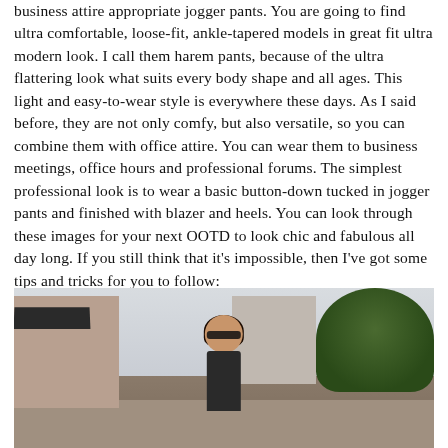business attire appropriate jogger pants. You are going to find ultra comfortable, loose-fit, ankle-tapered models in great fit ultra modern look. I call them harem pants, because of the ultra flattering look what suits every body shape and all ages. This light and easy-to-wear style is everywhere these days. As I said before, they are not only comfy, but also versatile, so you can combine them with office attire. You can wear them to business meetings, office hours and professional forums. The simplest professional look is to wear a basic button-down tucked in jogger pants and finished with blazer and heels. You can look through these images for your next OOTD to look chic and fabulous all day long. If you still think that it's impossible, then I've got some tips and tricks for you to follow:
[Figure (photo): Street photo of a woman with dark hair and sunglasses walking outdoors in an urban/suburban setting with trees, buildings, and a teal traffic light visible in the background.]